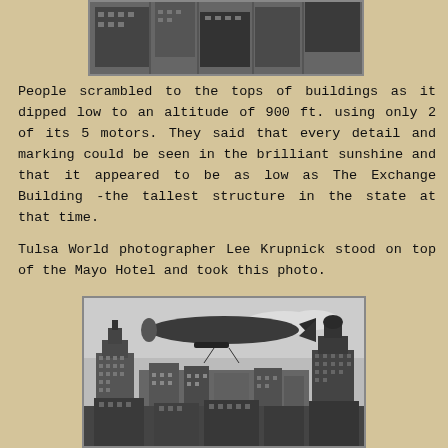[Figure (photo): Aerial black-and-white photo of city buildings viewed from above, cropped at the top of the page.]
People scrambled to the tops of buildings as it dipped low to an altitude of 900 ft. using only 2 of its 5 motors. They said that every detail and marking could be seen in the brilliant sunshine and that it appeared to be as low as The Exchange Building -the tallest structure in the state at that time.
Tulsa World photographer Lee Krupnick stood on top of the Mayo Hotel and took this photo.
[Figure (photo): Black-and-white historical photograph of a large zeppelin/blimp flying low over the Tulsa city skyline, taken from the top of the Mayo Hotel by Tulsa World photographer Lee Krupnick.]